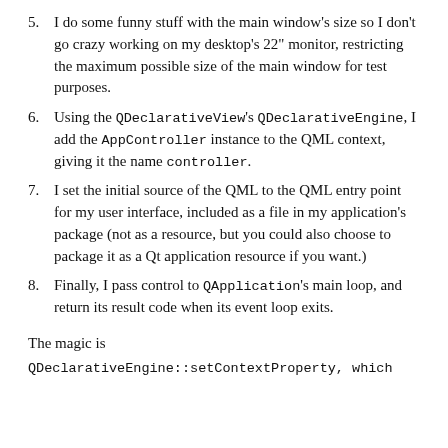5. I do some funny stuff with the main window's size so I don't go crazy working on my desktop's 22" monitor, restricting the maximum possible size of the main window for test purposes.
6. Using the QDeclarativeView's QDeclarativeEngine, I add the AppController instance to the QML context, giving it the name controller.
7. I set the initial source of the QML to the QML entry point for my user interface, included as a file in my application's package (not as a resource, but you could also choose to package it as a Qt application resource if you want.)
8. Finally, I pass control to QApplication's main loop, and return its result code when its event loop exits.
The magic is
QDeclarativeEngine::setContextProperty, which